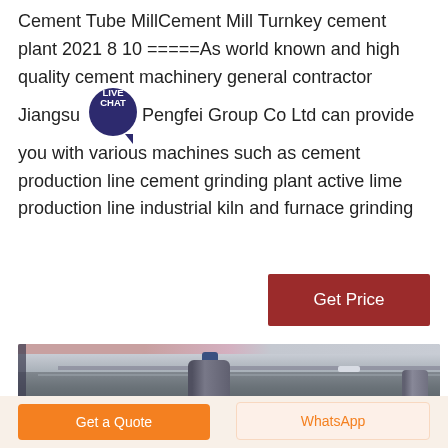Cement Tube MillCement Mill Turnkey cement plant 2021 8 10 =====As world known and high quality cement machinery general contractor Jiangsu Pengfei Group Co Ltd can provide you with various machines such as cement production line cement grinding plant active lime production line industrial kiln and furnace grinding
[Figure (other): Live Chat speech bubble icon in dark navy/purple color]
[Figure (photo): Industrial facility interior showing large cement mill tanks/silos suspended from steel framework ceiling structure]
Get Price
Get a Quote
WhatsApp